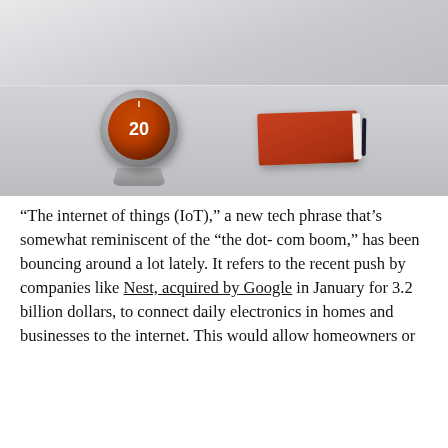[Figure (photo): A Nest smart thermostat displaying '20' on its orange screen, sitting on a silver stand on a light gray desk surface, next to a red notebook with a dark pen.]
“The internet of things (IoT),” a new tech phrase that’s somewhat reminiscent of the “the dot- com boom,” has been bouncing around a lot lately. It refers to the recent push by companies like Nest, acquired by Google in January for 3.2 billion dollars, to connect daily electronics in homes and businesses to the internet. This would allow homeowners or